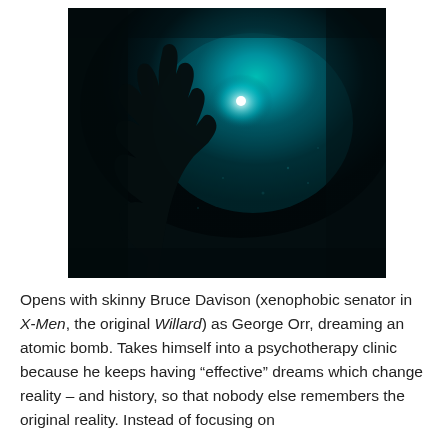[Figure (photo): A dark underwater or night-sky photograph showing a silhouetted arm and hand reaching upward toward a glowing teal/cyan light source in the center of the image. The background is dark with a turquoise luminescent glow around the light.]
Opens with skinny Bruce Davison (xenophobic senator in X-Men, the original Willard) as George Orr, dreaming an atomic bomb. Takes himself into a psychotherapy clinic because he keeps having “effective” dreams which change reality – and history, so that nobody else remembers the original reality. Instead of focusing on